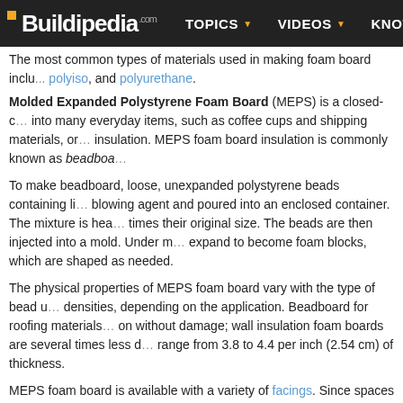Buildipedia.com | TOPICS | VIDEOS | KNOWLEDGE
The most common types of materials used in making foam board include polyiso, and polyurethane.
Molded Expanded Polystyrene Foam Board (MEPS) is a closed-c... into many everyday items, such as coffee cups and shipping materials, or insulation. MEPS foam board insulation is commonly known as beadboa...
To make beadboard, loose, unexpanded polystyrene beads containing li... blowing agent and poured into an enclosed container. The mixture is hea... times their original size. The beads are then injected into a mold. Under m... expand to become foam blocks, which are shaped as needed.
The physical properties of MEPS foam board vary with the type of bead u... densities, depending on the application. Beadboard for roofing materials... on without damage; wall insulation foam boards are several times less d... range from 3.8 to 4.4 per inch (2.54 cm) of thickness.
MEPS foam board is available with a variety of facings. Since spaces betw... water, a vapor diffusion retarder is necessary if water transmission thr...